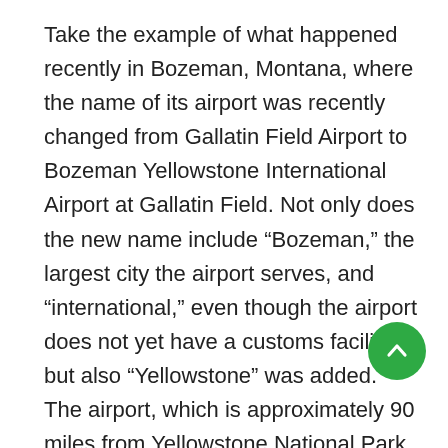Take the example of what happened recently in Bozeman, Montana, where the name of its airport was recently changed from Gallatin Field Airport to Bozeman Yellowstone International Airport at Gallatin Field. Not only does the new name include “Bozeman,” the largest city the airport serves, and “international,” even though the airport does not yet have a customs facility, but also “Yellowstone” was added. The airport, which is approximately 90 miles from Yellowstone National Park, changed its name to better compete with other airports that serve the park (Yellowstone Airport in West Yellowstone, Montana which is just a couple miles the park; Jackson Hole Airport in Jackson Hole, Wyoming which is approximately 47 miles from the park; and Yellowstone Regional Airport in Cody, Wyoming which is approximately 52 miles from the park).
[Figure (other): Green circular scroll-to-top button with upward chevron arrow icon]